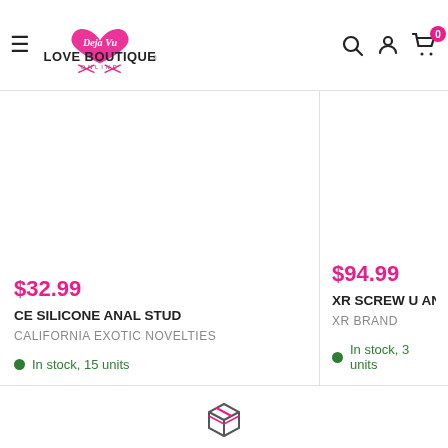Deja Vu Love Boutique Online — navigation header with logo, hamburger menu, search, account, and cart icons
$32.99
CE SILICONE ANAL STUD
CALIFORNIA EXOTIC NOVELTIES
In stock, 15 units
$94.99
XR SCREW U ANAL PL
XR BRAND
In stock, 3 units
[Figure (logo): Box/package icon at bottom center of page]